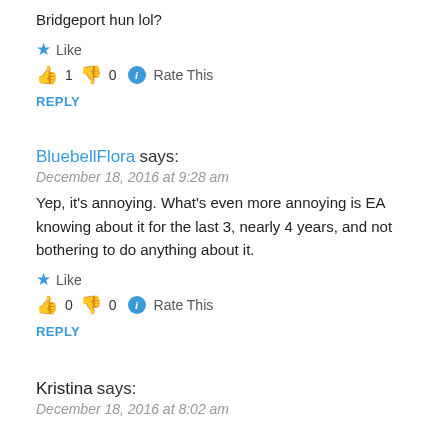Bridgeport hun lol?
Like
👍 1 👎 0 ℹ Rate This
REPLY
BluebellFlora says:
December 18, 2016 at 9:28 am
Yep, it's annoying. What's even more annoying is EA knowing about it for the last 3, nearly 4 years, and not bothering to do anything about it.
Like
👍 0 👎 0 ℹ Rate This
REPLY
Kristina says:
December 18, 2016 at 8:02 am